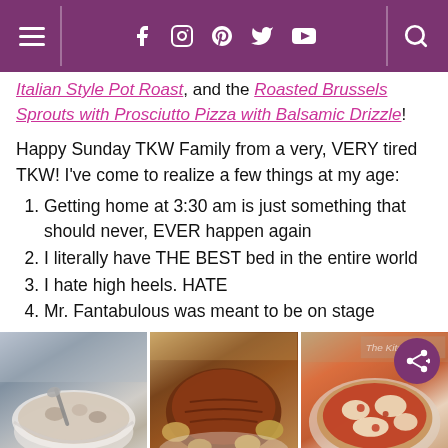Navigation bar with hamburger menu, social icons (Facebook, Instagram, Pinterest, Twitter, YouTube), and search icon
Italian Style Pot Roast, and the Roasted Brussels Sprouts with Prosciutto Pizza with Balsamic Drizzle!
Happy Sunday TKW Family from a very, VERY tired TKW!  I've come to realize a few things at my age:
Getting home at 3:30 am is just something that should never, EVER happen again
I literally have THE BEST bed in the entire world
I hate high heels. HATE
Mr. Fantabulous was meant to be on stage
[Figure (photo): Three food photos side by side: a soup with mushrooms and a spoon, Italian style pot roast with vegetables, and pizza with tomato sauce and cheese]